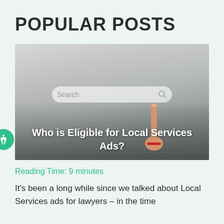POPULAR POSTS
[Figure (photo): A hand pointing finger at a search bar on a screen, with text overlay 'Who is Eligible for Local Services Ads?']
Who is Eligible for Local Services Ads?
Reading Time: 9 minutes
It's been a long while since we talked about Local Services ads for lawyers – in the time